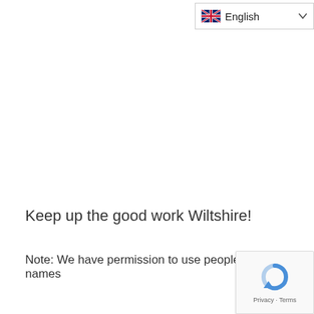[Figure (screenshot): English language selector dropdown with UK flag icon and chevron]
Keep up the good work Wiltshire!
Note: We have permission to use peoples' first names
[Figure (logo): reCAPTCHA badge with circular arrow icon and Privacy · Terms links]